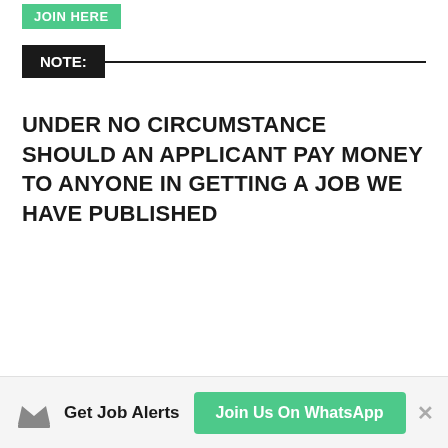JOIN HERE
NOTE:
UNDER NO CIRCUMSTANCE SHOULD AN APPLICANT PAY MONEY TO ANYONE IN GETTING A JOB WE HAVE PUBLISHED
Get Job Alerts  Join Us On WhatsApp  ×